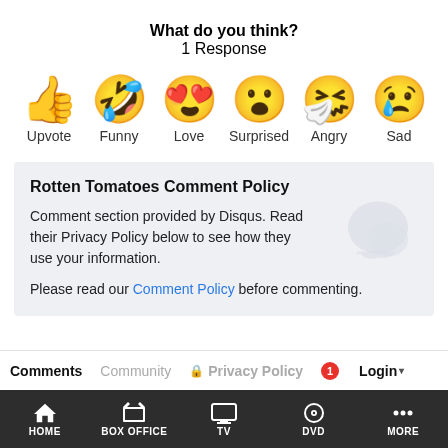What do you think?
1 Response
[Figure (infographic): Six emoji reaction buttons: Upvote (thumbs up), Funny (laughing face with tongue), Love (heart eyes), Surprised (wow face), Angry (crying/sneezing face), Sad (crying face with teardrop)]
Rotten Tomatoes Comment Policy
Comment section provided by Disqus. Read their Privacy Policy below to see how they use your information.
Please read our Comment Policy before commenting.
Comments  Community  Privacy Policy  Login
HOME  BOX OFFICE  TV  DVD  MORE